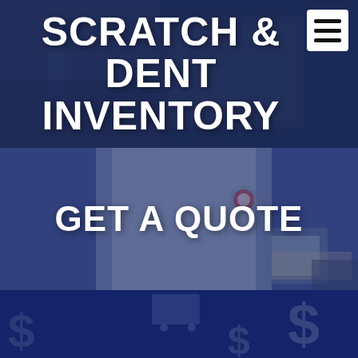SCRATCH & DENT INVENTORY
GET A QUOTE
PRICE LIST